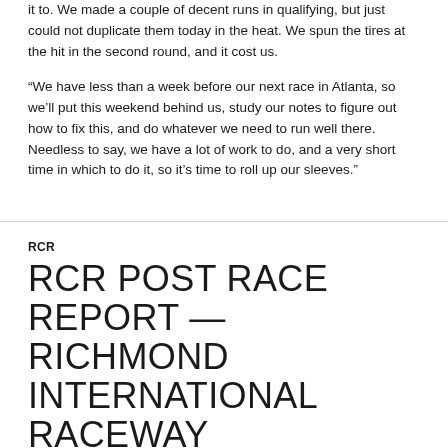it to.  We made a couple of decent runs in qualifying, but just could not duplicate them today in the heat.  We spun the tires at the hit in the second round, and it cost us.
“We have less than a week before our next race in Atlanta, so we’ll put this weekend behind us, study our notes to figure out how to fix this, and do whatever we need to run well there.  Needless to say, we have a lot of work to do, and a very short time in which to do it, so it’s time to roll up our sleeves.”
RCR
RCR POST RACE REPORT — RICHMOND INTERNATIONAL RACEWAY SPRINT CUP SERIES